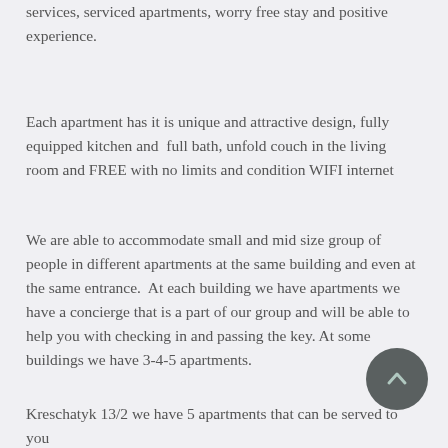services, serviced apartments, worry free stay and positive experience.
Each apartment has it is unique and attractive design, fully equipped kitchen and  full bath, unfold couch in the living room and FREE with no limits and condition WIFI internet
We are able to accommodate small and mid size group of people in different apartments at the same building and even at the same entrance.  At each building we have apartments we have a concierge that is a part of our group and will be able to help you with checking in and passing the key. At some buildings we have 3-4-5 apartments.
Kreschatyk 13/2 we have 5 apartments that can be served to you